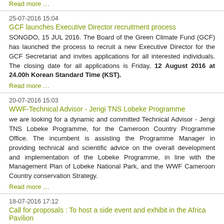Read more …
25-07-2016 15:04
GCF launches Executive Director recruitment process
SONGDO, 15 JUL 2016. The Board of the Green Climate Fund (GCF) has launched the process to recruit a new Executive Director for the GCF Secretariat and invites applications for all interested individuals. The closing date for all applications is Friday, 12 August 2016 at 24.00h Korean Standard Time (KST).
Read more …
20-07-2016 15:03
WWF-Technical Advisor - Jengi TNS Lobeke Programme
we are looking for a dynamic and committed Technical Advisor - Jengi TNS Lobeke Programme, for the Cameroon Country Programme Office. The incumbent is assisting the Programme Manager in providing technical and scientific advice on the overall development and implementation of the Lobeke Programme, in line with the Management Plan of Lobeke National Park, and the WWF Cameroon Country conservation Strategy.
Read more …
18-07-2016 17:12
Call for proposals : To host a side event and exhibit in the Africa Pavilion
Marrakesh, Morocco 7th – 18th November 2016
While Side Events are an excellent means to communicate progress on selected initiatives and, feedback from the Africa Pavilion in COP21 was that there were too many of them from which to choose, it is therefore strongly advised that suggested fewer and more linked/or coordinated events will have to be organised at Africa Pavilion during COP22. It is important to note that the proposing organization will serve as the lead organizer and responsible for